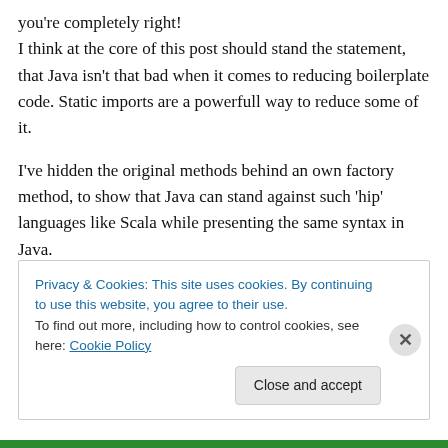you're completely right! I think at the core of this post should stand the statement, that Java isn't that bad when it comes to reducing boilerplate code. Static imports are a powerfull way to reduce some of it.
I've hidden the original methods behind an own factory method, to show that Java can stand against such 'hip' languages like Scala while presenting the same syntax in Java.
Privacy & Cookies: This site uses cookies. By continuing to use this website, you agree to their use. To find out more, including how to control cookies, see here: Cookie Policy